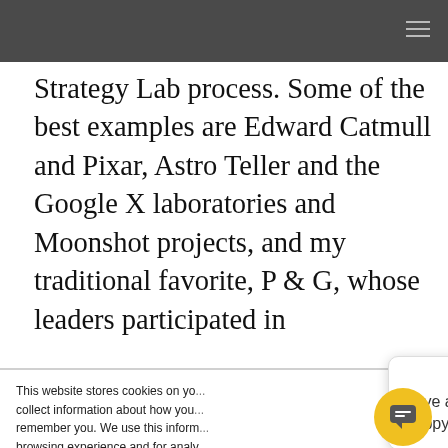Strategy Lab process. Some of the best examples are Edward Catmull and Pixar, Astro Teller and the Google X laboratories and Moonshot projects, and my traditional favorite, P & G, whose leaders participated in
This website stores cookies on your computer to collect information about how you interact, remember you. We use this information for browsing experience and for analytics about this website and other media. To find out more, see our Privacy Policy.
Have any questions? Happy to help!
Accept
Your browser settings do not allow cross-site tracking for advertising. Click on this to allow AdRoll to use cross-site tracking to tailor ads to you. Learn more or opt out of this AdRoll tracking by clicking here. This message only appears once.